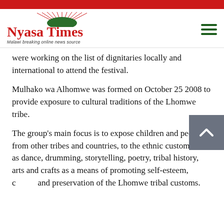Nyasa Times – Malawi breaking online news source
were working on the list of dignitaries locally and international to attend the festival.
Mulhako wa Alhomwe was formed on October 25 2008 to provide exposure to cultural traditions of the Lhomwe tribe.
The group's main focus is to expose children and people from other tribes and countries, to the ethnic customs such as dance, drumming, storytelling, poetry, tribal history, arts and crafts as a means of promoting self-esteem, c[ulture] and preservation of the Lhomwe tribal customs.